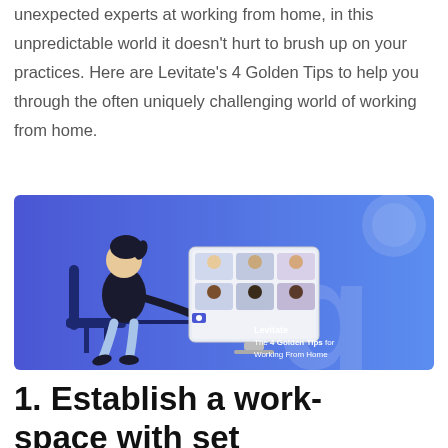unexpected experts at working from home, in this unpredictable world it doesn't hurt to brush up on your practices. Here are Levitate's 4 Golden Tips to help you through the often uniquely challenging world of working from home.
[Figure (illustration): Illustrated banner with blue/purple gradient background showing a person sitting at a desk on a video call with six participants shown on screen. Right side shows text: 'Levitate — The 4 Golden Tips for Working From Home' with a large stylized 'g' watermark.]
1. Establish a work-space with set boundaries